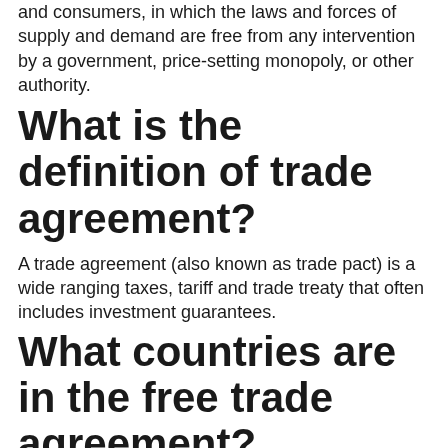and consumers, in which the laws and forces of supply and demand are free from any intervention by a government, price-setting monopoly, or other authority.
What is the definition of trade agreement?
A trade agreement (also known as trade pact) is a wide ranging taxes, tariff and trade treaty that often includes investment guarantees.
What countries are in the free trade agreement?